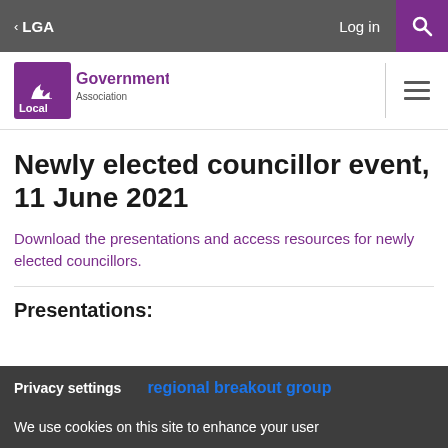< LGA   Log in
[Figure (logo): Local Government Association logo — purple badge with stylized flame, text 'Local Government Association']
Newly elected councillor event, 11 June 2021
Download the presentations and access resources for newly elected councillors.
Presentations:
Privacy settings   regional breakout group
We use cookies on this site to enhance your user